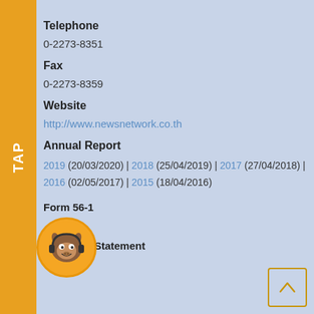Telephone
0-2273-8351
Fax
0-2273-8359
Website
http://www.newsnetwork.co.th
Annual Report
2019 (20/03/2020) | 2018 (25/04/2019) | 2017 (27/04/2018) | 2016 (02/05/2017) | 2015 (18/04/2016)
Form 56-1
Financial Statement
[Figure (illustration): Mascot icon: orange circle with cartoon bull/cow character wearing headphones]
[Figure (other): Back to top arrow button with orange border]